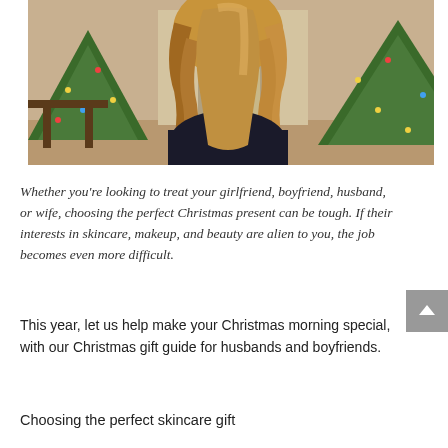[Figure (photo): A woman with long wavy blonde hair seen from behind, wearing a dark top, standing in a festively decorated room with Christmas trees adorned with lights and golden decorations, and a fireplace in the background.]
Whether you're looking to treat your girlfriend, boyfriend, husband, or wife, choosing the perfect Christmas present can be tough. If their interests in skincare, makeup, and beauty are alien to you, the job becomes even more difficult.
This year, let us help make your Christmas morning special, with our Christmas gift guide for husbands and boyfriends.
Choosing the perfect skincare gift